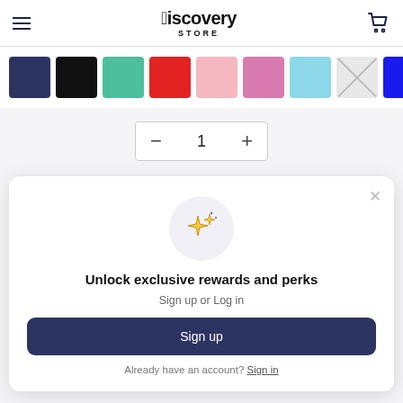Discovery STORE
[Figure (other): Color swatch selector row showing 9 color options: dark navy, black, green, red, pink, mauve/pink, light blue, gray (out of stock, crossed out), royal blue]
[Figure (other): Quantity selector control showing minus button, quantity 1, and plus button]
Unlock exclusive rewards and perks
Sign up or Log in
Sign up
Already have an account? Sign in